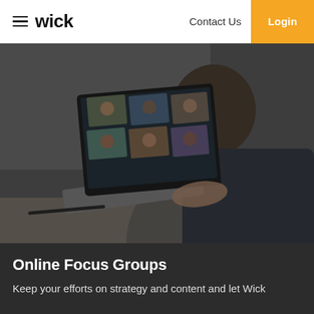wick  Contact Us  Login
[Figure (photo): Person viewed from behind, sitting at a desk, using a laptop showing a video conference call with multiple participants in a grid layout. The image has a dark overlay. A pen and notebook are visible on the desk.]
Online Focus Groups
Keep your efforts on strategy and content and let Wick